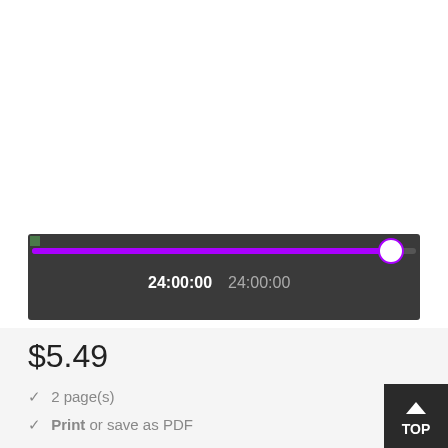[Figure (screenshot): A dark gray media player progress bar with a purple filled track nearly at the end, a white circle handle at the far right, and time displays showing '24:00:00  24:00:00' in white text on dark background.]
$5.49
✓ 2 page(s)
✓ Print or save as PDF
[Figure (screenshot): A dark square button in the bottom-right corner with an upward arrow and 'TOP' text in white on dark background.]